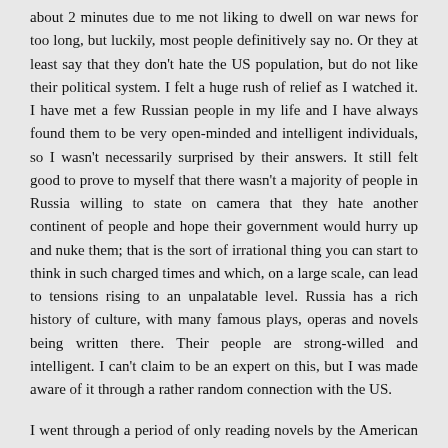about 2 minutes due to me not liking to dwell on war news for too long, but luckily, most people definitively say no. Or they at least say that they don't hate the US population, but do not like their political system. I felt a huge rush of relief as I watched it. I have met a few Russian people in my life and I have always found them to be very open-minded and intelligent individuals, so I wasn't necessarily surprised by their answers. It still felt good to prove to myself that there wasn't a majority of people in Russia willing to state on camera that they hate another continent of people and hope their government would hurry up and nuke them; that is the sort of irrational thing you can start to think in such charged times and which, on a large scale, can lead to tensions rising to an unpalatable level. Russia has a rich history of culture, with many famous plays, operas and novels being written there. Their people are strong-willed and intelligent. I can't claim to be an expert on this, but I was made aware of it through a rather random connection with the US.
I went through a period of only reading novels by the American authors Charles Bukowski and John Fante. I particularly enjoyed the protagonist in Fante's series of semi-autobiographical novels called The Bandini Quartet. The main character's name is Arturo Bandini and the series of novels follow him from childhood to old age, as he finds